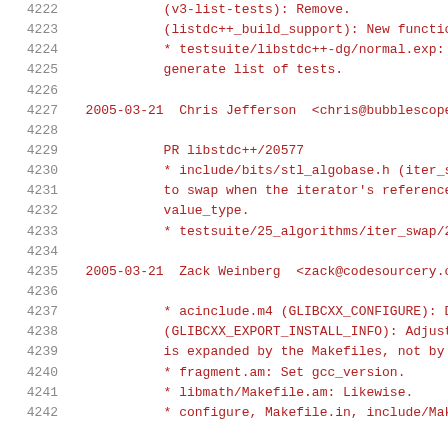4222    (v3-list-tests): Remove.
4223    (listdc++_build_support): New function.
4224    * testsuite/libstdc++-dg/normal.exp: Re
4225    generate list of tests.
4226
4227  2005-03-21  Chris Jefferson  <chris@bubblescope
4228
4229        PR libstdc++/20577
4230        * include/bits/stl_algobase.h (iter_swa
4231        to swap when the iterator's reference_t
4232        value_type.
4233        * testsuite/25_algorithms/iter_swap/205
4234
4235  2005-03-21  Zack Weinberg  <zack@codesourcery.c
4236
4237        * acinclude.m4 (GLIBCXX_CONFIGURE): Del
4238        (GLIBCXX_EXPORT_INSTALL_INFO): Adjust q
4239        is expanded by the Makefiles, not by co
4240        * fragment.am: Set gcc_version.
4241        * libmath/Makefile.am: Likewise.
4242        * configure, Makefile.in, include/Makef